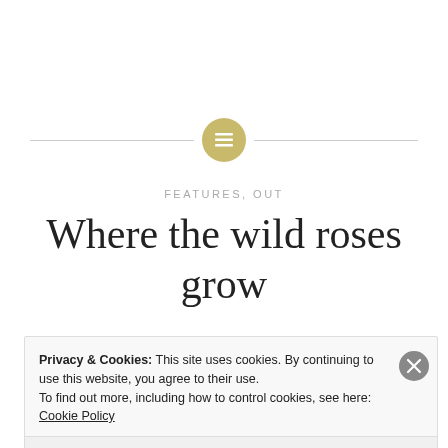[Figure (illustration): Decorative horizontal lines with a gold/tan circular icon containing a menu/list symbol in white, centered between two horizontal lines]
FEATURES, OUT
Where the wild roses grow
Posted by KAYLEIGH TANNER on 17/06/2018
Privacy & Cookies: This site uses cookies. By continuing to use this website, you agree to their use.
To find out more, including how to control cookies, see here: Cookie Policy
Close and accept